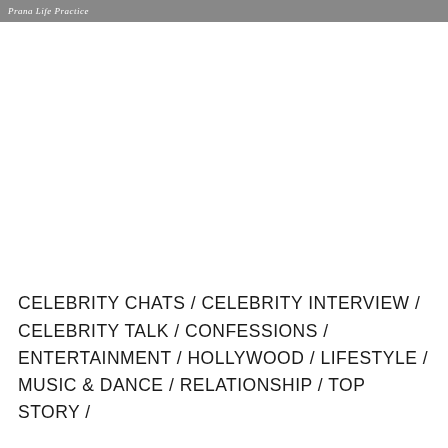Prana Life Practice
CELEBRITY CHATS / CELEBRITY INTERVIEW / CELEBRITY TALK / CONFESSIONS / ENTERTAINMENT / HOLLYWOOD / LIFESTYLE / MUSIC & DANCE / RELATIONSHIP / TOP STORY /